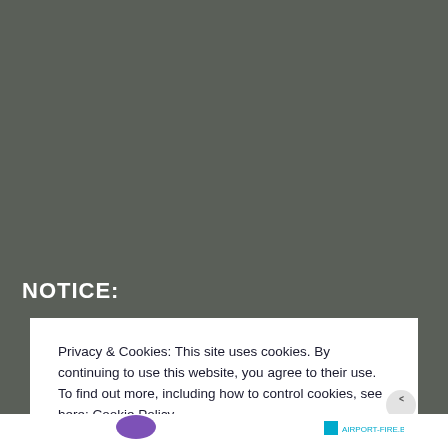[Figure (screenshot): Dark grey/green background covering the upper portion of the page, representing a webpage background]
NOTICE:
Privacy & Cookies: This site uses cookies. By continuing to use this website, you agree to their use.
To find out more, including how to control cookies, see here: Cookie Policy
Close and accept